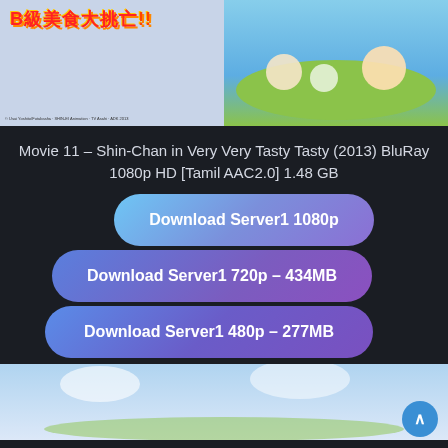[Figure (illustration): Crayon Shin-chan animated movie cover showing two panels: left panel with Chinese title text 'B級美食大逃亡!!' on light background, right panel showing animated characters running on a colorful outdoor scene]
Movie 11 – Shin-Chan in Very Very Tasty Tasty (2013) BluRay 1080p HD [Tamil AAC2.0] 1.48 GB
[Figure (other): Download button: Download Server1 1080p with blue-purple gradient rounded rectangle]
[Figure (other): Download button: Download Server1 720p – 434MB with purple gradient rounded rectangle]
[Figure (other): Download button: Download Server1 480p – 277MB with blue-purple gradient rounded rectangle]
[Figure (illustration): Partial view of another Crayon Shin-chan animated scene at the bottom of the page showing characters in a sky/outdoor setting]